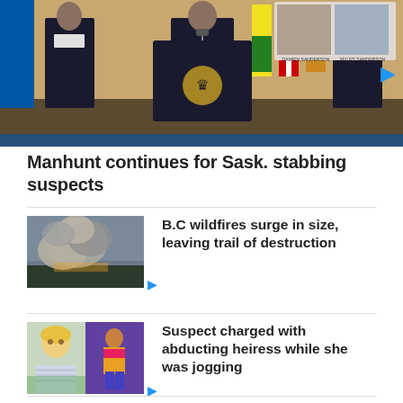[Figure (photo): Police press conference with officers at a podium, Canadian flags in background, suspect ID photos in upper right corner]
Manhunt continues for Sask. stabbing suspects
[Figure (photo): Wildfire smoke cloud rising above forest trees]
B.C wildfires surge in size, leaving trail of destruction
[Figure (photo): Two images side by side: smiling blonde woman and runner in colorful outfit]
Suspect charged with abducting heiress while she was jogging
[Figure (photo): Colorful rainbow image]
Stunning rainbows